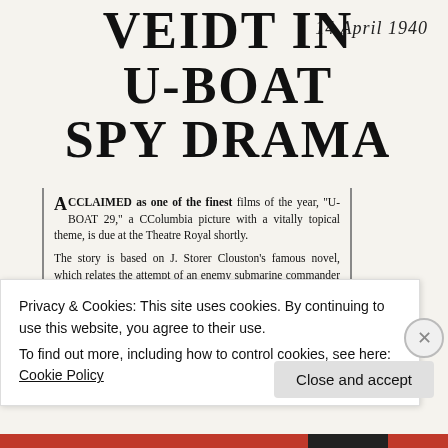VEIDT IN U-BOAT SPY DRAMA
14 April 1940
ACCLAIMED as one of the finest films of the year, "U-BOAT 29," a CColumbia picture with a vitally topical theme, is due at the Theatre Royal shortly.

The story is based on J. Storer Clouston's famous novel, which relates the attempt of an enemy submarine commander to obtain from an alleged spy information concerning the movements of the British Fleet.

How the attempt is foiled by the counter-activities of a British naval officer and a village school.
Privacy & Cookies: This site uses cookies. By continuing to use this website, you agree to their use.
To find out more, including how to control cookies, see here: Cookie Policy
Close and accept